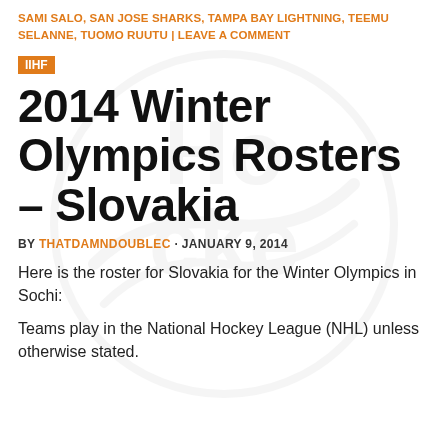SAMI SALO, SAN JOSE SHARKS, TAMPA BAY LIGHTNING, TEEMU SELANNE, TUOMO RUUTU | LEAVE A COMMENT
IIHF
2014 Winter Olympics Rosters – Slovakia
BY THATDAMNDOUBLEC · JANUARY 9, 2014
Here is the roster for Slovakia for the Winter Olympics in Sochi:
Teams play in the National Hockey League (NHL) unless otherwise stated.